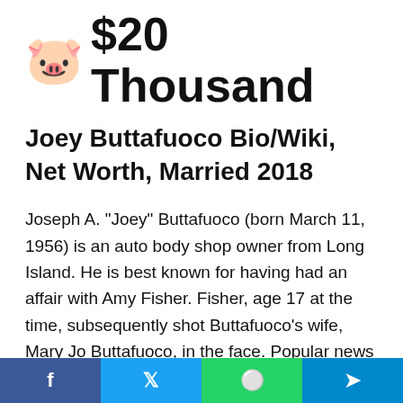🐷 $20 Thousand
Joey Buttafuoco Bio/Wiki, Net Worth, Married 2018
Joseph A. "Joey" Buttafuoco (born March 11, 1956) is an auto body shop owner from Long Island. He is best known for having had an affair with Amy Fisher. Fisher, age 17 at the time, subsequently shot Buttafuoco's wife, Mary Jo Buttafuoco, in the face. Popular news coverage titled Fisher the "Long Island Lolita." Buttafuoco subsequently pled guilty to one
f  t  ⊕  ✈